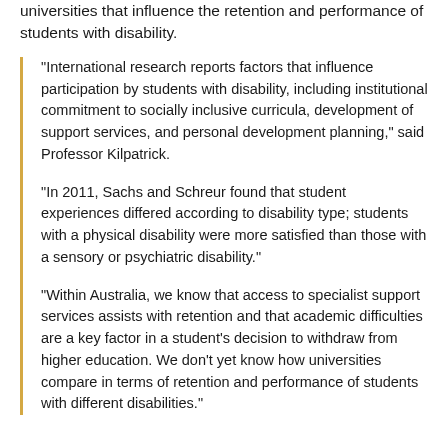universities that influence the retention and performance of students with disability.
“International research reports factors that influence participation by students with disability, including institutional commitment to socially inclusive curricula, development of support services, and personal development planning,” said Professor Kilpatrick.
“In 2011, Sachs and Schreur found that student experiences differed according to disability type; students with a physical disability were more satisfied than those with a sensory or psychiatric disability.”
“Within Australia, we know that access to specialist support services assists with retention and that academic difficulties are a key factor in a student’s decision to withdraw from higher education. We don’t yet know how universities compare in terms of retention and performance of students with different disabilities.”